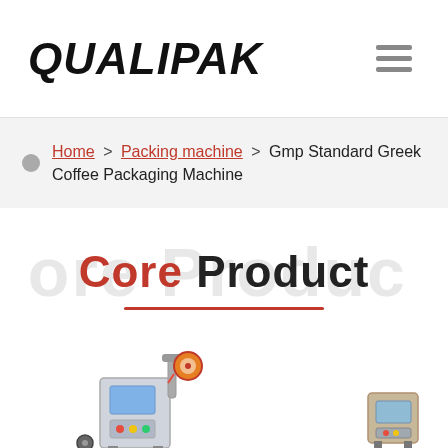QUALIPAK
Home > Packing machine > Gmp Standard Greek Coffee Packaging Machine
Core Product
[Figure (photo): Packaging machine product image on left side, partially visible]
[Figure (photo): Packaging machine product image on right side, partially visible]